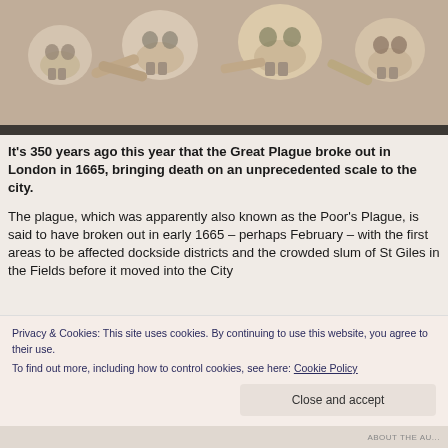[Figure (photo): Stone relief sculpture of multiple skulls and bones arranged decoratively on a wall surface]
It's 350 years ago this year that the Great Plague broke out in London in 1665, bringing death on an unprecedented scale to the city.
The plague, which was apparently also known as the Poor's Plague, is said to have broken out in early 1665 – perhaps February – with the first areas to be affected dockside districts and the crowded slum of St Giles in the Fields before it moved into the City
Privacy & Cookies: This site uses cookies. By continuing to use this website, you agree to their use.
To find out more, including how to control cookies, see here: Cookie Policy
Close and accept